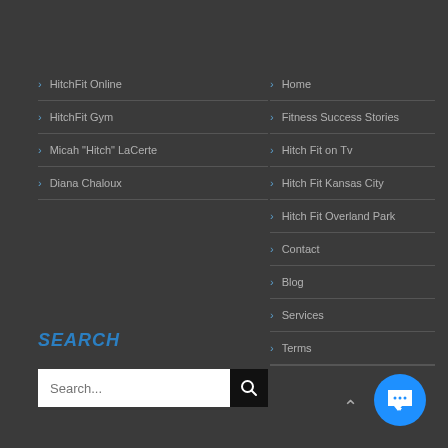> HitchFit Online
> HitchFit Gym
> Micah "Hitch" LaCerte
> Diana Chaloux
> Home
> Fitness Success Stories
> Hitch Fit on Tv
> Hitch Fit Kansas City
> Hitch Fit Overland Park
> Contact
> Blog
> Services
> Terms
SEARCH
Search...